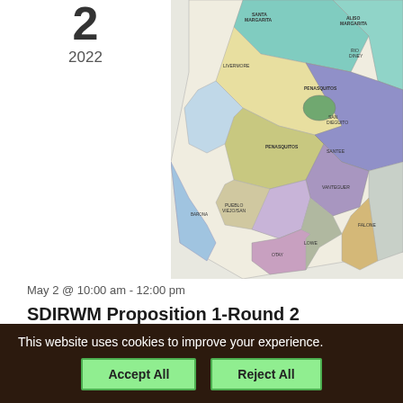2
2022
[Figure (map): Colorful regional watershed management map showing San Diego Integrated Regional Water Management (SDIRWM) area with labeled sub-regions in various colors including teal, purple, yellow, green, blue, lavender, and beige. Labels include Santa Margarita, San Dieguito, Rio Hondo, Livermore, Penasquitos, San Diego, Pauma, Santee, Palomar, Fallbrook, and others.]
May 2 @ 10:00 am - 12:00 pm
SDIRWM Proposition 1-Round 2 Implementation Grant Technical Workshop
Virtual
This website uses cookies to improve your experience.
Accept All
Reject All